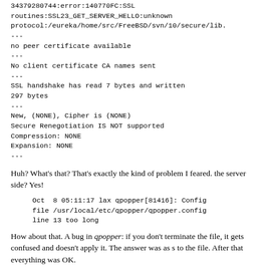34379280744:error:140770FC:SSL routines:SSL23_GET_SERVER_HELLO:unknown protocol:/eureka/home/src/FreeBSD/svn/10/secure/lib.
---
no peer certificate available
---
No client certificate CA names sent
---
SSL handshake has read 7 bytes and written 297 bytes
---
New, (NONE), Cipher is (NONE)
Secure Renegotiation IS NOT supported
Compression: NONE
Expansion: NONE
---
Huh? What's that? That's exactly the kind of problem I feared. the server side? Yes!
Oct  8 05:11:17 lax qpopper[81416]: Config file /usr/local/etc/qpopper/qpopper.config line 13 too long
How about that. A bug in qpopper: if you don't terminate the file, it gets confused and doesn't apply it. The answer was as s to the file. After that everything was OK.
Well, almost: